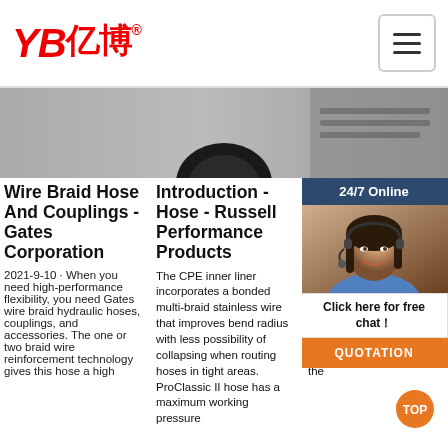YB亿博® [hamburger menu]
[Figure (photo): Partial image strip showing a dark circular object (hose fitting) at center, with partial keyboard/equipment visible at right]
Wire Braid Hose And Couplings - Gates Corporation
2021-9-10 · When you need high-performance flexibility, you need Gates wire braid hydraulic hoses, couplings, and accessories. The one or two braid wire reinforcement technology gives this hose a high
Introduction - Hose - Russell Performance Products
The CPE inner liner incorporates a bonded multi-braid stainless wire that improves bend radius with less possibility of collapsing when routing hoses in tight areas. ProClassic II hose has a maximum working pressure
13 Ho Ne An
13 C Fail app Per grea failure doing hose, fitting, or clamp in an application that it is not designed for. 2) Kinking at or near the fittings - Once the barb of the
[Figure (photo): 24/7 Online chat widget showing woman with headset and chat/quotation button overlay]